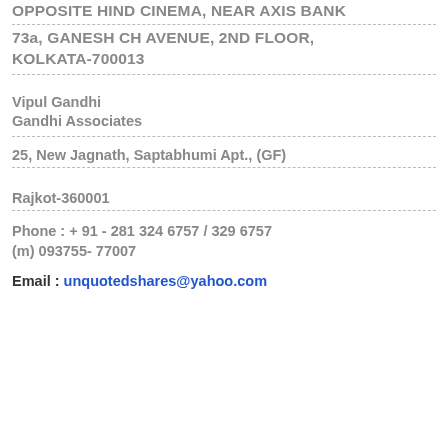OPPOSITE HIND CINEMA, NEAR AXIS BANK
73a, GANESH CH AVENUE, 2ND FLOOR, KOLKATA-700013
Vipul Gandhi
Gandhi Associates
25, New Jagnath, Saptabhumi Apt., (GF)
Rajkot-360001
Phone : + 91 - 281 324 6757 / 329 6757
(m)  093755- 77007
Email  :  unquotedshares@yahoo.com